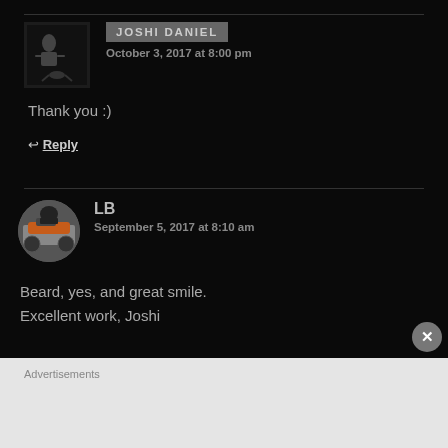JOSHI DANIEL
October 3, 2017 at 8:00 pm
Thank you :)
↩ Reply
[Figure (photo): Avatar image of LB, person on motorcycle]
LB
September 5, 2017 at 8:10 am
Beard, yes, and great smile.
Excellent work, Joshi
Advertisements